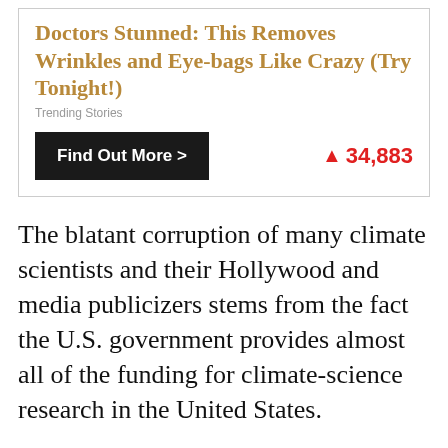[Figure (screenshot): Advertisement box with title 'Doctors Stunned: This Removes Wrinkles and Eye-bags Like Crazy (Try Tonight!)', source label 'Trending Stories', a black 'Find Out More >' button, and a red flame icon with count 34,883]
The blatant corruption of many climate scientists and their Hollywood and media publicizers stems from the fact the U.S. government provides almost all of the funding for climate-science research in the United States.
The result of that reality is that the climate